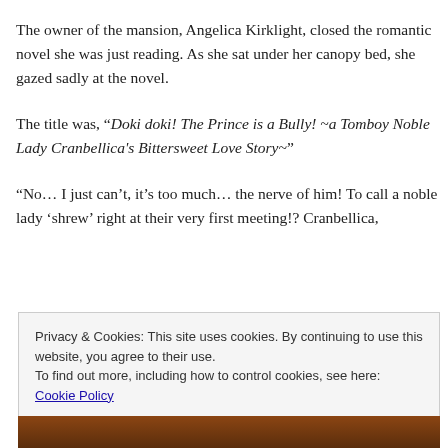The owner of the mansion, Angelica Kirklight, closed the romantic novel she was just reading. As she sat under her canopy bed, she gazed sadly at the novel.
The title was, “Doki doki! The Prince is a Bully! ~a Tomboy Noble Lady Cranbellica's Bittersweet Love Story~”
“No… I just can’t, it’s too much… the nerve of him! To call a noble lady ‘shrew’ right at their very first meeting!? Cranbellica,
Privacy & Cookies: This site uses cookies. By continuing to use this website, you agree to their use.
To find out more, including how to control cookies, see here: Cookie Policy
Close and accept